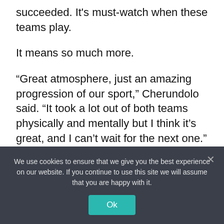succeeded. It's must-watch when these teams play.
It means so much more.
“Great atmosphere, just an amazing progression of our sport,” Cherundolo said. “It took a lot out of both teams physically and mentally but I think it’s great, and I can’t wait for the next one.”
That will come July 8 at Banc of California Stadium. There’s a chance that Vela, the
We use cookies to ensure that we give you the best experience on our website. If you continue to use this site we will assume that you are happy with it.